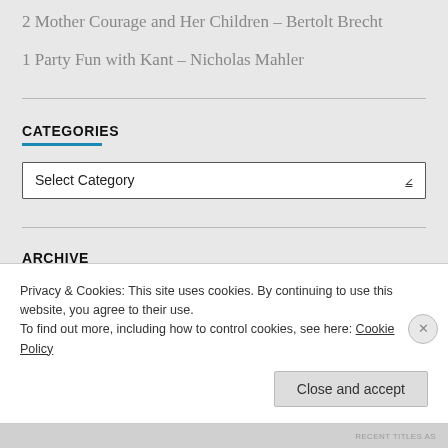2 Mother Courage and Her Children – Bertolt Brecht
1 Party Fun with Kant – Nicholas Mahler
CATEGORIES
Select Category
ARCHIVE
Select Month
Privacy & Cookies: This site uses cookies. By continuing to use this website, you agree to their use.
To find out more, including how to control cookies, see here: Cookie Policy
Close and accept
RECENT TITLES AS